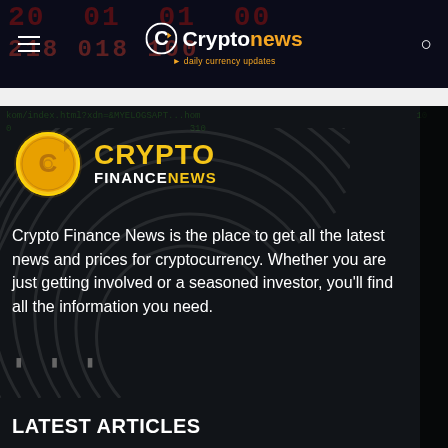Cryptonews · daily currency updates
[Figure (logo): Crypto Finance News circular logo with gold C icon and CRYPTO FINANCENEWS text]
Crypto Finance News is the place to get all the latest news and prices for cryptocurrency. Whether you are just getting involved or a seasoned investor, you'll find all the information you need.
LATEST ARTICLES